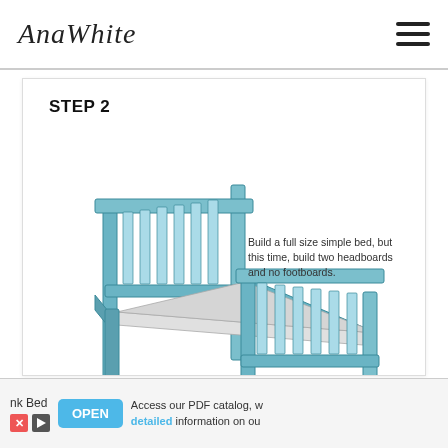AnaWhite
STEP 2
[Figure (illustration): 3D isometric illustration of a full-size simple bed frame with two headboards and no footboard. The bed is rendered in light blue/teal color with vertical slats on both headboard panels, side rails, and four legs. A light gray mattress platform is visible on top. The bed is shown in perspective from a slightly elevated front-right angle.]
Build a full size simple bed, but this time, build two headboards and no footboards.
nk Bed | Access our PDF catalog, with detailed information on our products | OPEN